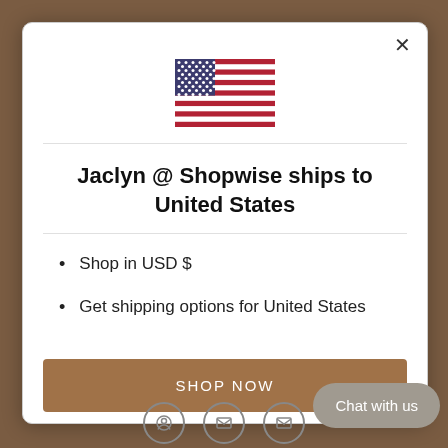[Figure (illustration): US flag SVG illustration centered at top of modal]
Jaclyn @ Shopwise ships to United States
Shop in USD $
Get shipping options for United States
SHOP NOW
CHANGE SHIPPING CO
Chat with us